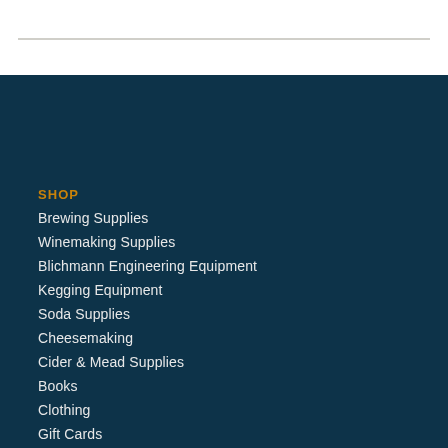SHOP
Brewing Supplies
Winemaking Supplies
Blichmann Engineering Equipment
Kegging Equipment
Soda Supplies
Cheesemaking
Cider & Mead Supplies
Books
Clothing
Gift Cards
For the Bar
Distilling Related